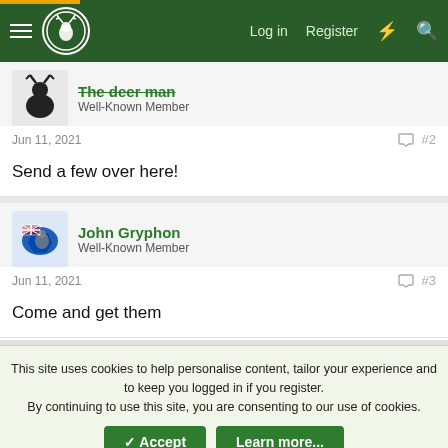Log in | Register
The deer man
Well-Known Member
Jun 11, 2021  #2
Send a few over here!
John Gryphon
Well-Known Member
Jun 11, 2021  #3
Come and get them
This site uses cookies to help personalise content, tailor your experience and to keep you logged in if you register.
By continuing to use this site, you are consenting to our use of cookies.